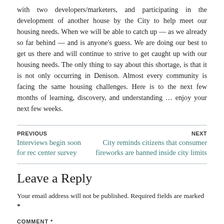with two developers/marketers, and participating in the development of another house by the City to help meet our housing needs. When we will be able to catch up — as we already so far behind — and is anyone's guess.  We are doing our best to get us there and will continue to strive to get caught up with our housing needs.  The only thing to say about this shortage, is that it is not only occurring in Denison.  Almost every community is facing the same housing challenges. Here is to the next few months of learning, discovery, and understanding … enjoy your next few weeks.
PREVIOUS
Interviews begin soon for rec center survey
NEXT
City reminds citizens that consumer fireworks are banned inside city limits
Leave a Reply
Your email address will not be published. Required fields are marked *
COMMENT *